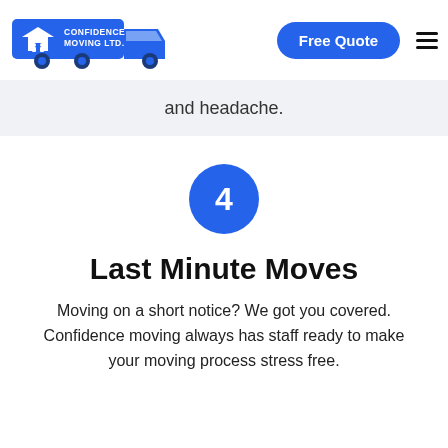Confidence Moving Ltd. | Free Quote
and headache.
4
Last Minute Moves
Moving on a short notice? We got you covered. Confidence moving always has staff ready to make your moving process stress free.